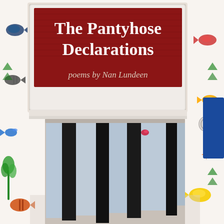[Figure (photo): Book cover for 'The Pantyhose Declarations: poems by Nan Lundeen'. The cover shows a bathroom scene with colorful fish-patterned wallpaper. A red rectangular sign with white frame hangs on the wall displaying the book title. Below the sign, multiple black pantyhose are draped over a towel bar. A round mirror on a stand is visible on the left side. A Facebook promotional tab is on the right edge.]
The Pantyhose Declarations
poems by Nan Lundeen